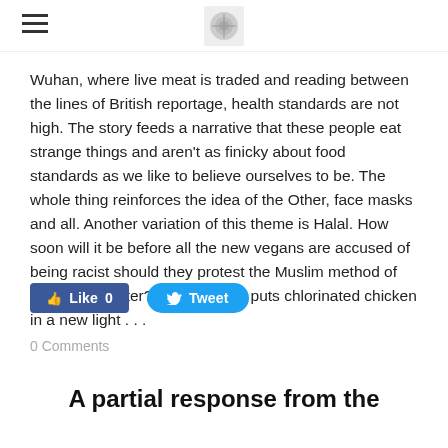[hamburger menu] [logo]
Wuhan, where live meat is traded and reading between the lines of British reportage, health standards are not high. The story feeds a narrative that these people eat strange things and aren't as finicky about food standards as we like to believe ourselves to be. The whole thing reinforces the idea of the Other, face masks and all. Another variation of this theme is Halal. How soon will it be before all the new vegans are accused of being racist should they protest the Muslim method of animal slaughter? Perhaps it all puts chlorinated chicken in a new light . . .
Like 0   Tweet
0 Comments
A partial response from the